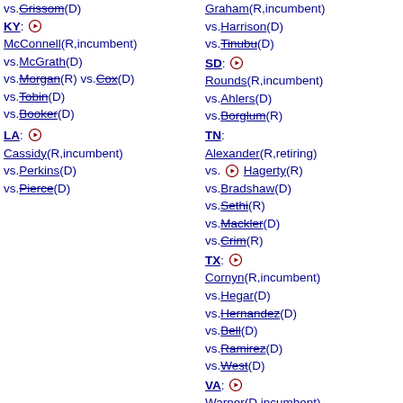vs.Grissom(D)
KY: McConnell(R,incumbent) vs.McGrath(D) vs.Morgan(R) vs.Cox(D) vs.Tobin(D) vs.Booker(D)
LA: Cassidy(R,incumbent) vs.Perkins(D) vs.Pierce(D)
Graham(R,incumbent) vs.Harrison(D) vs.Tinubu(D)
SD: Rounds(R,incumbent) vs.Ahlers(D) vs.Borglum(R)
TN: Alexander(R,retiring) vs. Hagerty(R) vs.Bradshaw(D) vs.Sethi(R) vs.Mackler(D) vs.Crim(R)
TX: Cornyn(R,incumbent) vs.Hegar(D) vs.Hernandez(D) vs.Bell(D) vs.Ramirez(D) vs.West(D)
VA: Warner(D,incumbent) vs.Taylor(R) vs.Gade(R)
WV: Capito(R,incumbent) vs.Swearengin(D) vs.Ojeda(D)